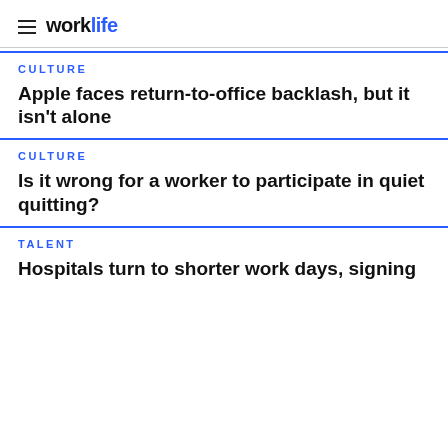worklife
CULTURE
Apple faces return-to-office backlash, but it isn't alone
CULTURE
Is it wrong for a worker to participate in quiet quitting?
TALENT
Hospitals turn to shorter work days, signing bonuses and other benefits for retention...